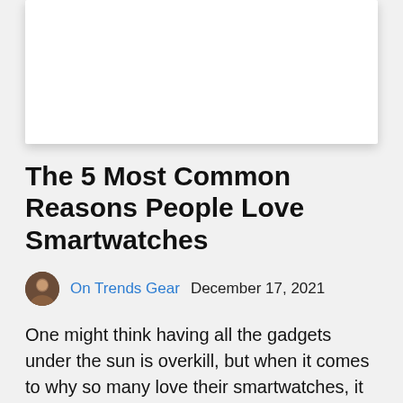[Figure (photo): White card/image placeholder with drop shadow at top of page]
The 5 Most Common Reasons People Love Smartwatches
On Trends Gear   December 17, 2021
One might think having all the gadgets under the sun is overkill, but when it comes to why so many love their smartwatches, it boils… Read More »